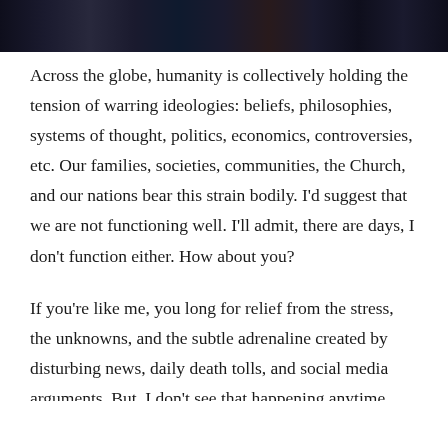[Figure (photo): Dark cityscape or nighttime scene photo strip at the top of the page]
Across the globe, humanity is collectively holding the tension of warring ideologies: beliefs, philosophies, systems of thought, politics, economics, controversies, etc. Our families, societies, communities, the Church, and our nations bear this strain bodily. I'd suggest that we are not functioning well. I'll admit, there are days, I don't function either. How about you?
If you're like me, you long for relief from the stress, the unknowns, and the subtle adrenaline created by disturbing news, daily death tolls, and social media arguments. But, I don't see that happening anytime soon.